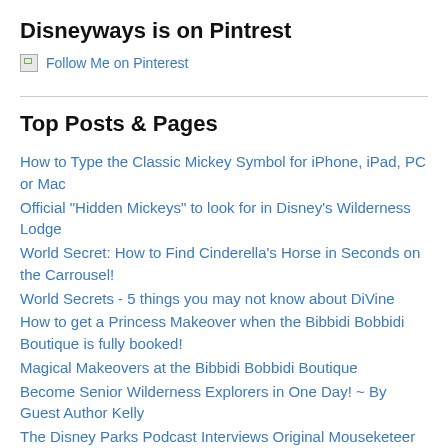Disneyways is on Pintrest
[Figure (other): Broken image icon followed by 'Follow Me on Pinterest' link text]
Top Posts & Pages
How to Type the Classic Mickey Symbol for iPhone, iPad, PC or Mac
Official "Hidden Mickeys" to look for in Disney's Wilderness Lodge
World Secret: How to Find Cinderella's Horse in Seconds on the Carrousel!
World Secrets - 5 things you may not know about DiVine
How to get a Princess Makeover when the Bibbidi Bobbidi Boutique is fully booked!
Magical Makeovers at the Bibbidi Bobbidi Boutique
Become Senior Wilderness Explorers in One Day! ~ By Guest Author Kelly
The Disney Parks Podcast Interviews Original Mouseketeer Lonnie Burr
Osborne Family Spectacle of Lights - Secrets and History
Making a joyful noise at Disney's Night of Joy!